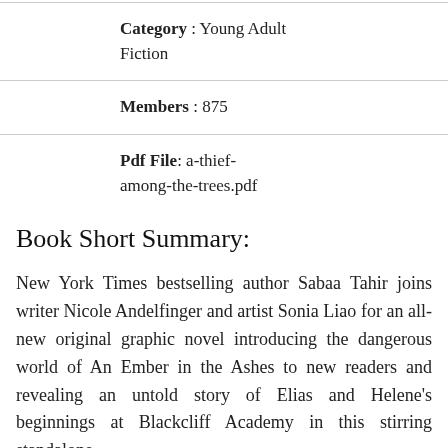Category : Young Adult Fiction
Members : 875
Pdf File: a-thief-among-the-trees.pdf
Book Short Summary:
New York Times bestselling author Sabaa Tahir joins writer Nicole Andelfinger and artist Sonia Liao for an all-new original graphic novel introducing the dangerous world of An Ember in the Ashes to new readers and revealing an untold story of Elias and Helene's beginnings at Blackcliff Academy in this stirring standalone